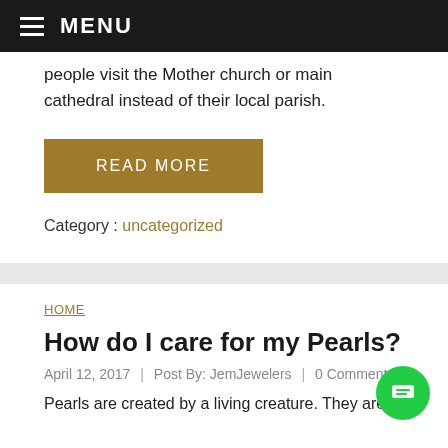MENU
people visit the Mother church or main cathedral instead of their local parish.
READ MORE
Category : uncategorized
HOME
How do I care for my Pearls?
April 12, 2017  |  Post By: JemJewelers  |  0 Comments
Pearls are created by a living creature. They are